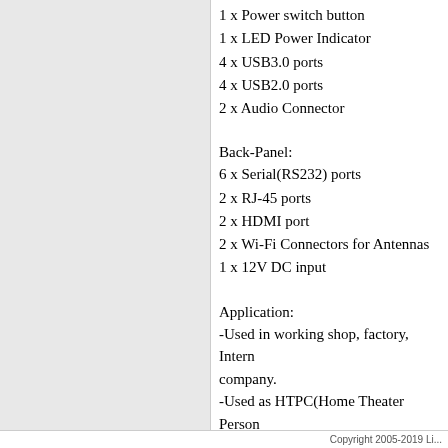1 x Power switch button
1 x LED Power Indicator
4 x USB3.0 ports
4 x USB2.0 ports
2 x Audio Connector
Back-Panel:
6 x Serial(RS232) ports
2 x RJ-45 ports
2 x HDMI port
2 x Wi-Fi Connectors for Antennas
1 x 12V DC input
Application:
-Used in working shop, factory, Internet company.
-Used as HTPC(Home Theater Personal Computer), internet movies or games.
-Used as Personal Computer, high con…
Copyright 2005-2019 Li...